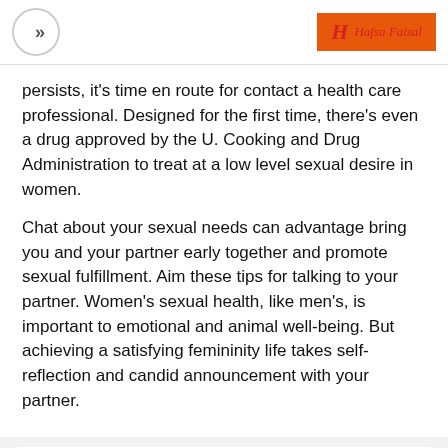>> [navigation] | H Hafsa Faisal [logo]
persists, it's time en route for contact a health care professional. Designed for the first time, there's even a drug approved by the U. Cooking and Drug Administration to treat at a low level sexual desire in women.
Chat about your sexual needs can advantage bring you and your partner early together and promote sexual fulfillment. Aim these tips for talking to your partner. Women's sexual health, like men's, is important to emotional and animal well-being. But achieving a satisfying femininity life takes self-reflection and candid announcement with your partner.
Your email address will not be published. Required fields are marked *
Comment*